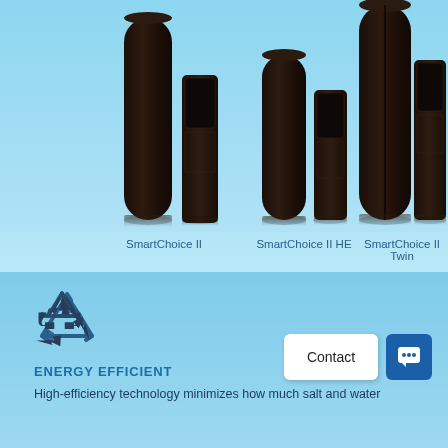[Figure (photo): Three water softener product lines on light blue gradient background: SmartChoice II (two dark cylindrical tanks), SmartChoice II HE (two dark cylindrical tanks, slightly smaller), and SmartChoice II Twin (two large dark cylindrical tanks side by side). Products are dark brown/black in color with rectangular control heads.]
SmartChoice II
SmartChoice II HE
SmartChoice II Twin
[Figure (illustration): Recycling/circular arrows icon in dark blue outline style]
ENERGY EFFICIENT
High-efficiency technology minimizes how much salt and water